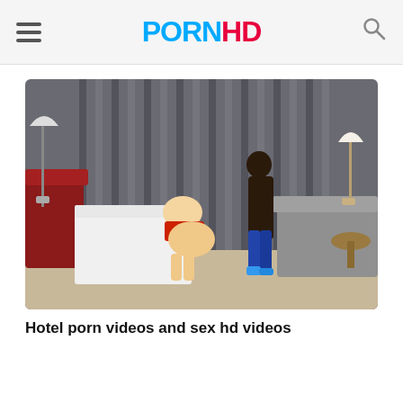PORNHD
[Figure (photo): A hotel room scene with two people, curtains in the background, a white-draped table, a red couch, and a grey sofa.]
Hotel porn videos and sex hd videos